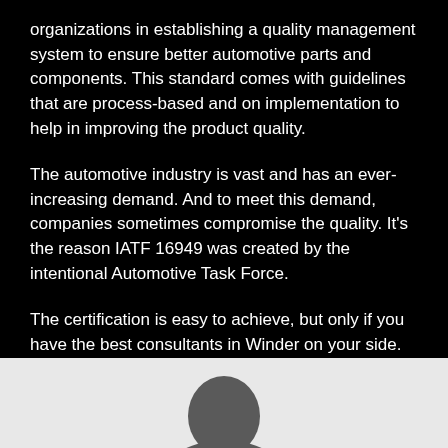organizations in establishing a quality management system to ensure better automotive parts and components. This standard comes with guidelines that are process-based and on implementation to help in improving the product quality.
The automotive industry is vast and has an ever-increasing demand. And to meet this demand, companies sometimes compromise the quality. It's the reason IATF 16949 was created by the intentional Automotive Task Force.
The certification is easy to achieve, but only if you have the best consultants in Winder on your side. So, reach out to us now!
[Figure (photo): Lower portion of a gray section showing the top of a person's silhouette/head in dark gray against a light gray background]